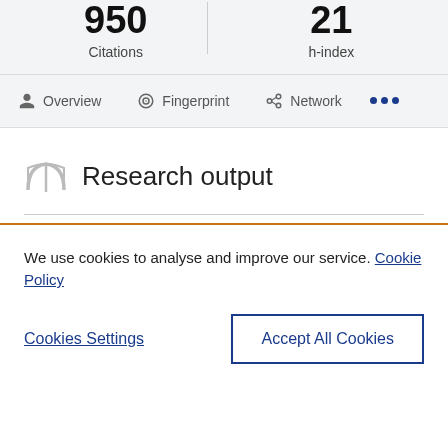Citations   h-index
Overview   Fingerprint   Network   ...
Research output
We use cookies to analyse and improve our service. Cookie Policy
Cookies Settings   Accept All Cookies